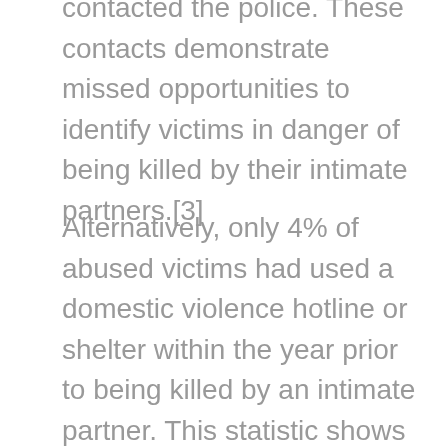contacted the police. These contacts demonstrate missed opportunities to identify victims in danger of being killed by their intimate partners.[3]
Alternatively, only 4% of abused victims had used a domestic violence hotline or shelter within the year prior to being killed by an intimate partner. This statistic shows that victims who need the most help aren't self-initiating contact